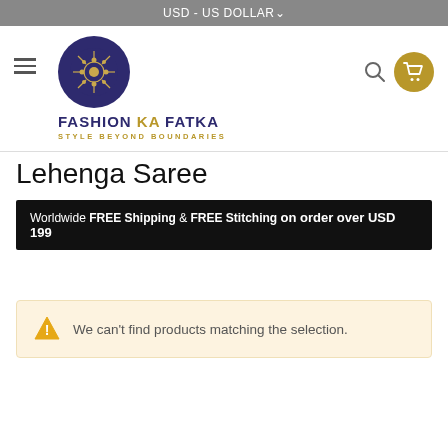USD - US DOLLAR
[Figure (logo): Fashion Ka Fatka logo - dark blue circle with gold ornamental design, brand name and tagline]
Lehenga Saree
Worldwide FREE Shipping & FREE Stitching on order over USD 199
We can't find products matching the selection.